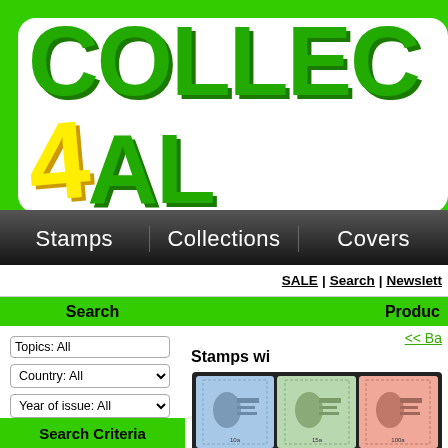[Figure (logo): Collect4All logo with green bubbly text and yellow '4']
Stamps | Collections | Covers
SALE | Search | Newsletter
Search
Products
Topics: All
Country: All
Year of issue: All
Type: All
Price range: All
Hide non-official
Search
Advanced search
<< Ba
Stamps wi
[Figure (photo): Three postage stamps side by side: blue, green, and pink/red, each showing a portrait of a man (Kennedy)]
Search Criteria